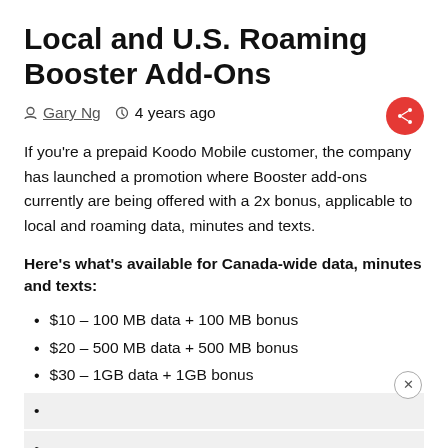Local and U.S. Roaming Booster Add-Ons
Gary Ng  ·  4 years ago
If you're a prepaid Koodo Mobile customer, the company has launched a promotion where Booster add-ons currently are being offered with a 2x bonus, applicable to local and roaming data, minutes and texts.
Here's what's available for Canada-wide data, minutes and texts:
$10 – 100 MB data + 100 MB bonus
$20 – 500 MB data + 500 MB bonus
$30 – 1GB data + 1GB bonus
[obscured]
[obscured]